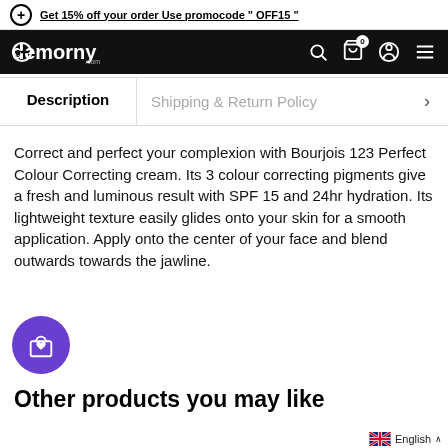Get 15% off your order Use promocode " OFF15 "
[Figure (logo): Demorny.com logo in white on black navigation bar with search, cart, account and menu icons]
Description | Shipping & Return Policy
Correct and perfect your complexion with Bourjois 123 Perfect Colour Correcting cream. Its 3 colour correcting pigments give a fresh and luminous result with SPF 15 and 24hr hydration. Its lightweight texture easily glides onto your skin for a smooth application. Apply onto the center of your face and blend outwards towards the jawline.
Other products you may like